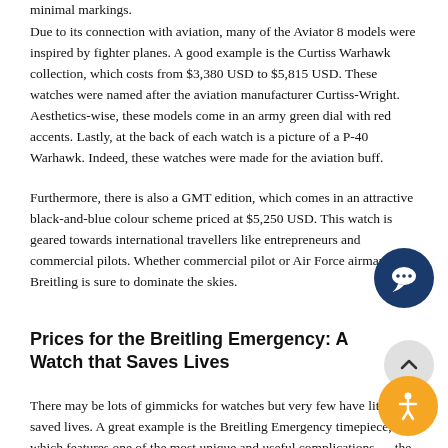minimal markings.
Due to its connection with aviation, many of the Aviator 8 models were inspired by fighter planes. A good example is the Curtiss Warhawk collection, which costs from $3,380 USD to $5,815 USD. These watches were named after the aviation manufacturer Curtiss-Wright. Aesthetics-wise, these models come in an army green dial with red accents. Lastly, at the back of each watch is a picture of a P-40 Warhawk. Indeed, these watches were made for the aviation buff.
Furthermore, there is also a GMT edition, which comes in an attractive black-and-blue colour scheme priced at $5,250 USD. This watch is geared towards international travellers like entrepreneurs and commercial pilots. Whether commercial pilot or Air Force airman, Breitling is sure to dominate the skies.
Prices for the Breitling Emergency: A Watch that Saves Lives
There may be lots of gimmicks for watches but very few have literally saved lives. A great example is the Breitling Emergency timepiece, which features one of the most unique and useful complications — the personal locator beacon. This feature can be used to locate persons